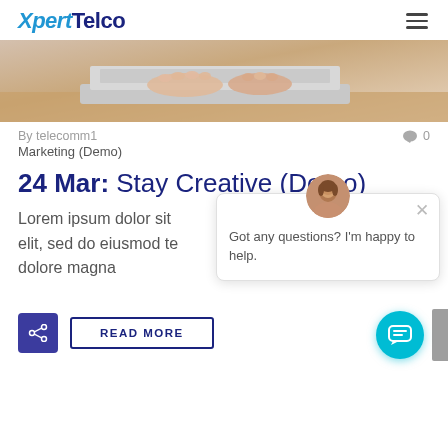XpertTelco
[Figure (photo): Hands typing on a laptop keyboard, warm toned background]
By telecomm1   0
Marketing (Demo)
24 Mar: Stay Creative (Demo)
Lorem ipsum dolor sit elit, sed do eiusmod te dolore magna
[Figure (screenshot): Chat popup with avatar. Text: Got any questions? I'm happy to help.]
READ MORE